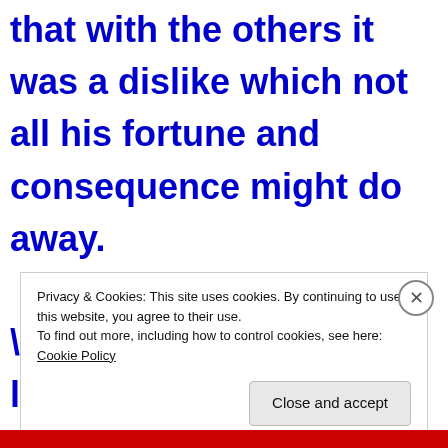that with the others it was a dislike which not all his fortune and consequence might do away.

“But, Lizzy, you look as if you did not enjoy it.  You are not going to be missish, I hope, and pretend to be affronted at an
Privacy & Cookies: This site uses cookies. By continuing to use this website, you agree to their use.
To find out more, including how to control cookies, see here: Cookie Policy
Close and accept